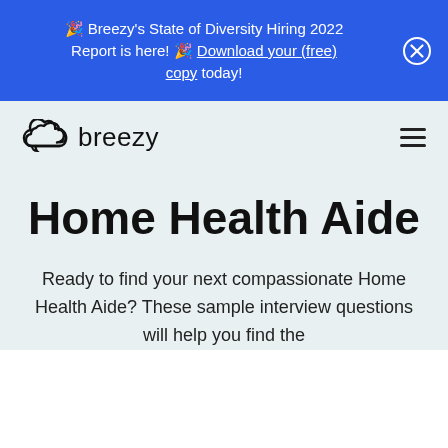🎉 Breezy's State of Diversity Hiring 2022 Report is here! 🎉 Download your (free) copy today!
[Figure (logo): Breezy HR logo with cloud icon and the word 'breezy' in black, with a hamburger menu icon on the right]
Home Health Aide
Ready to find your next compassionate Home Health Aide? These sample interview questions will help you find the